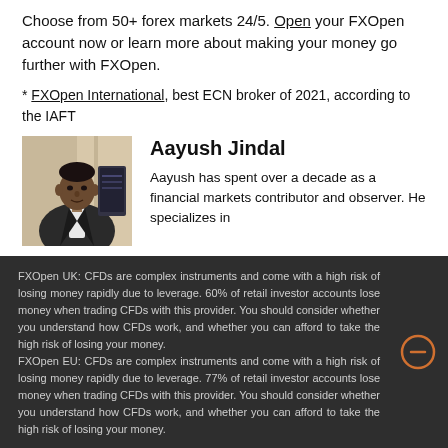Choose from 50+ forex markets 24/5. Open your FXOpen account now or learn more about making your money go further with FXOpen.
* FXOpen International, best ECN broker of 2021, according to the IAFT
Aayush Jindal
Aayush has spent over a decade as a financial markets contributor and observer. He specializes in
FXOpen UK: CFDs are complex instruments and come with a high risk of losing money rapidly due to leverage. 60% of retail investor accounts lose money when trading CFDs with this provider. You should consider whether you understand how CFDs work, and whether you can afford to take the high risk of losing your money. FXOpen EU: CFDs are complex instruments and come with a high risk of losing money rapidly due to leverage. 77% of retail investor accounts lose money when trading CFDs with this provider. You should consider whether you understand how CFDs work, and whether you can afford to take the high risk of losing your money.